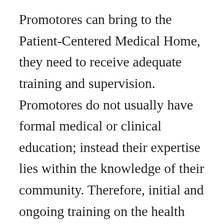Promotores can bring to the Patient-Centered Medical Home, they need to receive adequate training and supervision. Promotores do not usually have formal medical or clinical education; instead their expertise lies within the knowledge of their community. Therefore, initial and ongoing training on the health care system, available resources, and health topics and/or areas of outreach that they are assigned to perform is important to ensure Promotores have the necessary tools to meet established goals. In addition, supervisors of Promotores should be aware of the need for flexibility in their